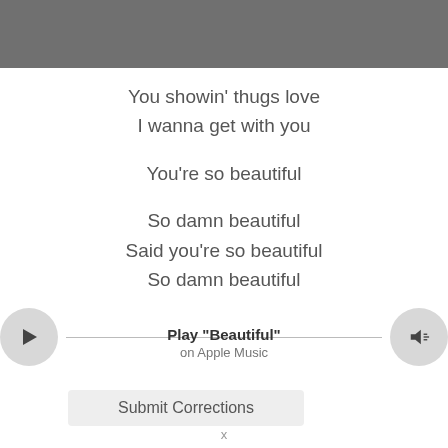[Figure (other): Dark gray header bar at top of page]
You showin' thugs love
I wanna get with you

You're so beautiful

So damn beautiful
Said you're so beautiful
So damn beautiful
[Figure (other): Apple Music player widget with play button on left, volume button on right, and 'Play "Beautiful"' text with 'on Apple Music' subtitle in center]
Submit Corrections
x